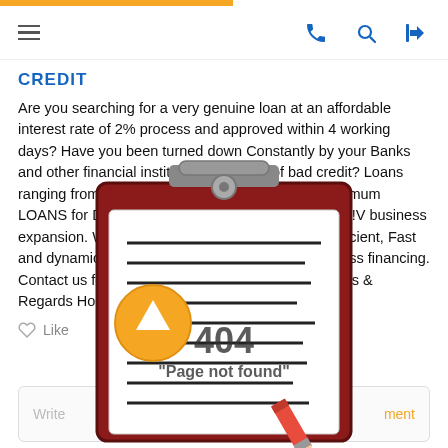Navigation bar with hamburger menu, phone, search, and login icons
CREDIT
Are you searching for a very genuine loan at an affordable interest rate of 2% process and approved within 4 working days? Have you been turned down Constantly by your Banks and other financial institutions because of bad credit? Loans ranging from $5000 USD to $20,000,000 USD maximum LOANS for Developing business a competitive edge!V business expansion. We are certified, trustworthy, reliable,efficient, Fast and dynamic for real estate and any kinds of business financing. Contact us for more details and information.\nThanks & Regards Housing .com
[Figure (illustration): 404 Page not found overlay with clipboard illustration containing lined paper and a pencil, with an orange upward arrow badge]
Like
Write ... ment